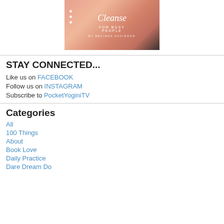[Figure (illustration): Book cover image for a chakra cleanse book for busy people by Belinda Davidson, with warm pink/salmon gradient background and decorative dots]
STAY CONNECTED...
Like us on FACEBOOK
Follow us on INSTAGRAM
Subscribe to PocketYoginiTV
Categories
All
100 Things
About
Book Love
Daily Practice
Dare Dream Do